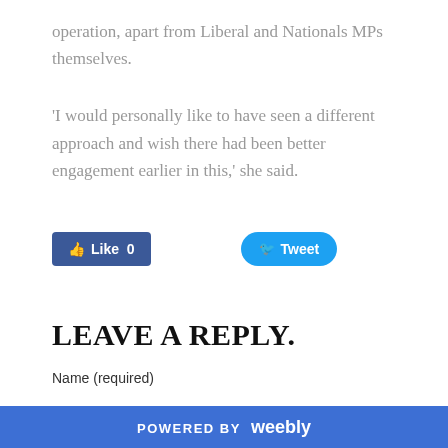operation, apart from Liberal and Nationals MPs themselves.
'I would personally like to have seen a different approach and wish there had been better engagement earlier in this,' she said.
[Figure (screenshot): Social media buttons: Facebook Like (count 0) and Twitter Tweet buttons]
LEAVE A REPLY.
Name (required)
POWERED BY weebly